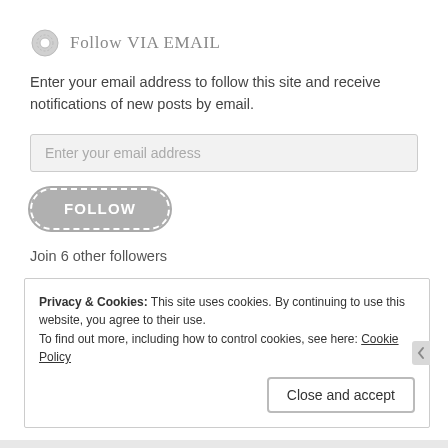Follow via Email
Enter your email address to follow this site and receive notifications of new posts by email.
Enter your email address
FOLLOW
Join 6 other followers
Privacy & Cookies: This site uses cookies. By continuing to use this website, you agree to their use.
To find out more, including how to control cookies, see here: Cookie Policy
Close and accept